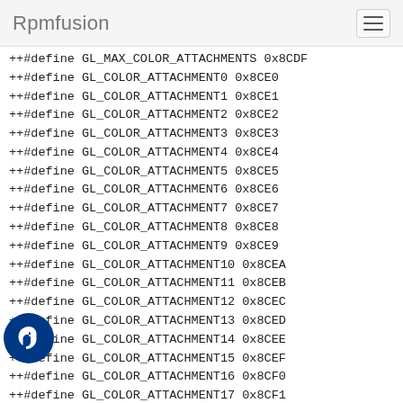Rpmfusion
++#define GL_MAX_COLOR_ATTACHMENTS 0x8CDF
++#define GL_COLOR_ATTACHMENT0 0x8CE0
++#define GL_COLOR_ATTACHMENT1 0x8CE1
++#define GL_COLOR_ATTACHMENT2 0x8CE2
++#define GL_COLOR_ATTACHMENT3 0x8CE3
++#define GL_COLOR_ATTACHMENT4 0x8CE4
++#define GL_COLOR_ATTACHMENT5 0x8CE5
++#define GL_COLOR_ATTACHMENT6 0x8CE6
++#define GL_COLOR_ATTACHMENT7 0x8CE7
++#define GL_COLOR_ATTACHMENT8 0x8CE8
++#define GL_COLOR_ATTACHMENT9 0x8CE9
++#define GL_COLOR_ATTACHMENT10 0x8CEA
++#define GL_COLOR_ATTACHMENT11 0x8CEB
++#define GL_COLOR_ATTACHMENT12 0x8CEC
++#define GL_COLOR_ATTACHMENT13 0x8CED
++#define GL_COLOR_ATTACHMENT14 0x8CEE
++#define GL_COLOR_ATTACHMENT15 0x8CEF
++#define GL_COLOR_ATTACHMENT16 0x8CF0
++#define GL_COLOR_ATTACHMENT17 0x8CF1
++#define GL_COLOR_ATTACHMENT18 0x8CF2